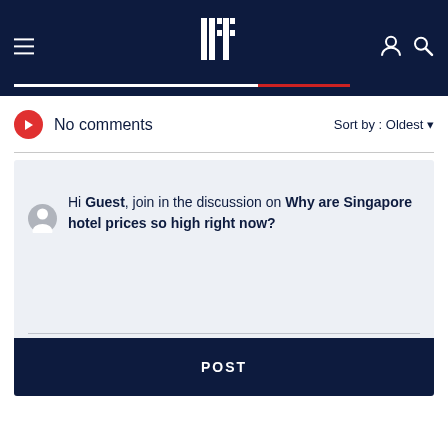Bt (BusinessTimes logo)
No comments   Sort by : Oldest
Hi Guest, join in the discussion on Why are Singapore hotel prices so high right now?
POST